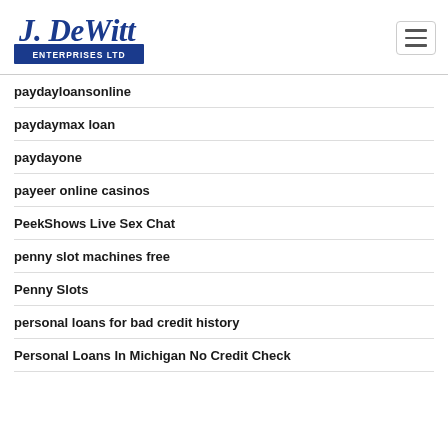J. DeWitt Enterprises Ltd (logo)
paydayloansonline
paydaymax loan
paydayone
payeer online casinos
PeekShows Live Sex Chat
penny slot machines free
Penny Slots
personal loans for bad credit history
Personal Loans In Michigan No Credit Check